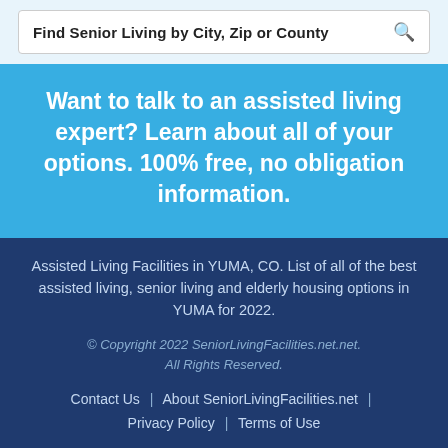Find Senior Living by City, Zip or County
Want to talk to an assisted living expert? Learn about all of your options. 100% free, no obligation information.
Assisted Living Facilities in YUMA, CO. List of all of the best assisted living, senior living and elderly housing options in YUMA for 2022.
© Copyright 2022 SeniorLivingFacilities.net.net. All Rights Reserved.
Contact Us  |  About SeniorLivingFacilities.net  |  Privacy Policy  |  Terms of Use